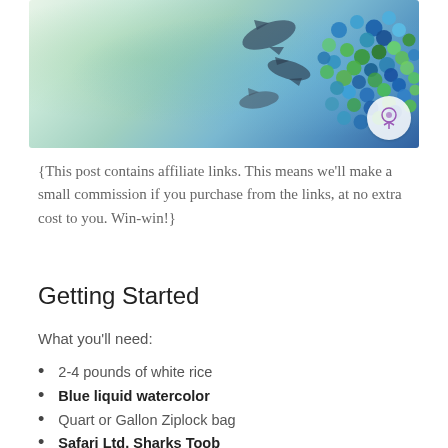[Figure (photo): Photo showing shark figurines and colorful blue, green, and teal glass gems scattered on a white surface. A small round logo watermark is visible in the bottom right corner.]
{This post contains affiliate links. This means we'll make a small commission if you purchase from the links, at no extra cost to you. Win-win!}
Getting Started
What you'll need:
2-4 pounds of white rice
Blue liquid watercolor
Quart or Gallon Ziplock bag
Safari Ltd. Sharks Toob
Glass gems
Shells
Plastic storage bin – recommended depth of 5-6"
Optional: Bowls, tongs, measuring cups, etc.